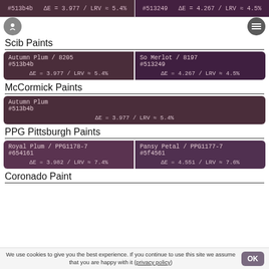#513b4b / ΔE = 3.977 / LRV ≈ 5.4% | #513249 / ΔE = 4.267 / LRV ≈ 4.5%
Scib Paints
| Color Name | Hex | Delta |
| --- | --- | --- |
| Autumn Plum / 8205 | #513b4b | ΔE = 3.977 / LRV ≈ 5.4% |
| So Merlot / 8197 | #513249 | ΔE = 4.267 / LRV ≈ 4.5% |
McCormick Paints
| Color Name | Hex | Delta |
| --- | --- | --- |
| Autumn Plum | #513b4b | ΔE = 3.977 / LRV ≈ 5.4% |
PPG Pittsburgh Paints
| Color Name | Hex | Delta |
| --- | --- | --- |
| Royal Plum / PPG1178-7 | #654161 | ΔE = 3.982 / LRV ≈ 7.4% |
| Pansy Petal / PPG1177-7 | #5f4561 | ΔE = 4.551 / LRV ≈ 7.6% |
Coronado Paint
We use cookies to give you the best experience. If you continue to use this site we assume that you are happy with it (privacy policy)